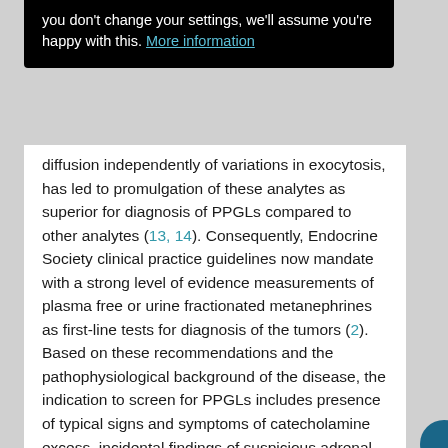you don't change your settings, we'll assume you're happy with this. More information
diffusion independently of variations in exocytosis, has led to promulgation of these analytes as superior for diagnosis of PPGLs compared to other analytes (13, 14). Consequently, Endocrine Society clinical practice guidelines now mandate with a strong level of evidence measurements of plasma free or urine fractionated metanephrines as first-line tests for diagnosis of the tumors (2). Based on these recommendations and the pathophysiological background of the disease, the indication to screen for PPGLs includes presence of typical signs and symptoms of catecholamine excess, incidental findings of suspicious adrenal or extra-adrenal lesions based on imaging, follow-up of